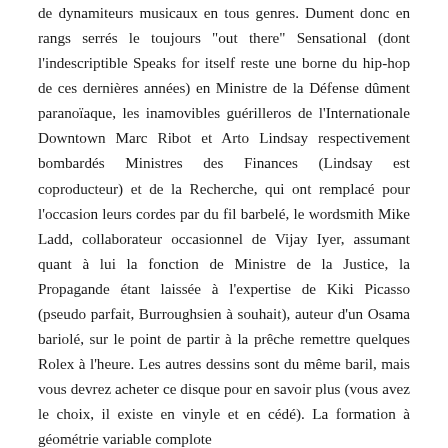de dynamiteurs musicaux en tous genres. Dument donc en rangs serrés le toujours "out there" Sensational (dont l'indescriptible Speaks for itself reste une borne du hip-hop de ces dernières années) en Ministre de la Défense dûment paranoïaque, les inamovibles guérilleros de l'Internationale Downtown Marc Ribot et Arto Lindsay respectivement bombardés Ministres des Finances (Lindsay est coproducteur) et de la Recherche, qui ont remplacé pour l'occasion leurs cordes par du fil barbelé, le wordsmith Mike Ladd, collaborateur occasionnel de Vijay Iyer, assumant quant à lui la fonction de Ministre de la Justice, la Propagande étant laissée à l'expertise de Kiki Picasso (pseudo parfait, Burroughsien à souhait), auteur d'un Osama bariolé, sur le point de partir à la prêche remettre quelques Rolex à l'heure. Les autres dessins sont du même baril, mais vous devrez acheter ce disque pour en savoir plus (vous avez le choix, il existe en vinyle et en cédé). La formation à géométrie variable complote